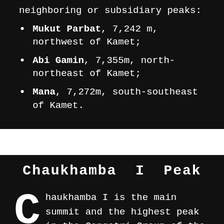neighboring or subsidiary peaks:
Mukut Parbat, 7,242 m, northwest of Kamet;
Abi Gamin, 7,355m, north-northeast of Kamet;
Mana, 7,272m, south-southeast of Kamet.
Chaukhamba I Peak
Chaukhamba I is the main summit and the highest peak in the Gangotri Group of the Garhwal Himalaya, It